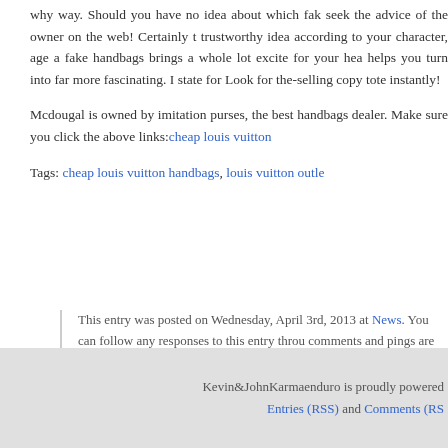why way. Should you have no idea about which fake seek the advice of the owner on the web! Certainly t trustworthy idea according to your character, age a fake handbags brings a whole lot excite for your hea helps you turn into far more fascinating. I state for Look for the-selling copy tote instantly!
Mcdougal is owned by imitation purses, the best handbags dealer. Make sure you click the above links: cheap louis vuitton
Tags: cheap louis vuitton handbags, louis louis vuitton outle
This entry was posted on Wednesday, April 3rd, 2013 at News. You can follow any responses to this entry throu comments and pings are currently closed.
Comments are closed.
Kevin&JohnKarmaenduro is proudly powered Entries (RSS) and Comments (RS